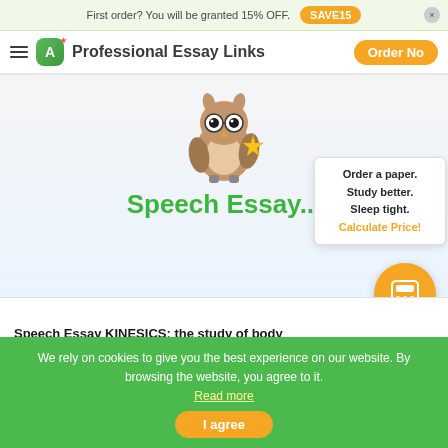First order? You will be granted 15% OFF. SAVE15
Professional Essay Links  Order Now
[Figure (illustration): Cartoon owl wearing glasses and holding a gold star]
Speech Essay...
Order a paper. Study better. Sleep tight. Calculate Price!
Speech Essay KINESICS: the study of body
We rely on cookies to give you the best experience on our website. By browsing the website, you agree to it. Read more
I agree